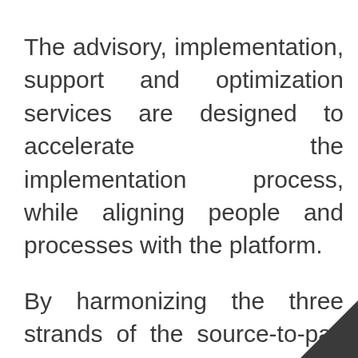The advisory, implementation, support and optimization services are designed to accelerate the implementation process, while aligning people and processes with the platform.
By harmonizing the three strands of the source-to-pay function, ExceleratedS2Sp helps reduce the cost of purchasing while increasing control, compliance and